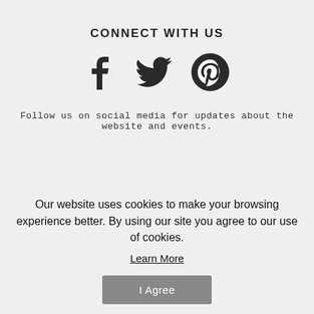CONNECT WITH US
[Figure (infographic): Three social media icons: Facebook (f), Twitter (bird), Pinterest (circle with P)]
Follow us on social media for updates about the website and events.
[Figure (photo): Person wearing a large green backpack with orange top and blue straps, with OFFGRID text logo partially visible]
Our website uses cookies to make your browsing experience better. By using our site you agree to our use of cookies.
Learn More
I Agree